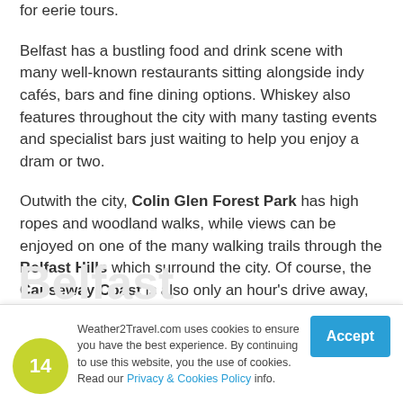for eerie tours.
Belfast has a bustling food and drink scene with many well-known restaurants sitting alongside indy cafés, bars and fine dining options. Whiskey also features throughout the city with many tasting events and specialist bars just waiting to help you enjoy a dram or two.
Outwith the city, Colin Glen Forest Park has high ropes and woodland walks, while views can be enjoyed on one of the many walking trails through the Belfast Hills which surround the city. Of course, the Causeway Coast is also only an hour's drive away, giving you lots to add to your itinerary.
Weather2Travel.com uses cookies to ensure you have the best experience. By continuing to use this website, you the use of cookies. Read our Privacy & Cookies Policy info.